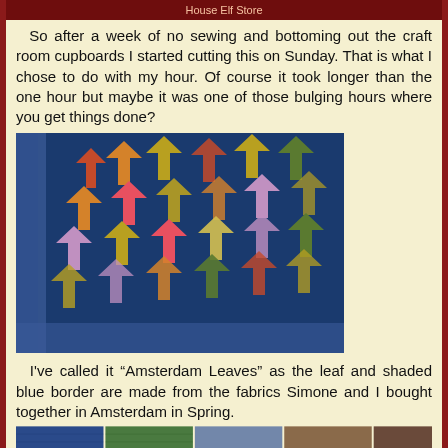House Elf Store
So after a week of no sewing and bottoming out the craft room cupboards I started cutting this on Sunday. That is what I chose to do with my hour. Of course it took longer than the one hour but maybe it was one of those bulging hours where you get things done?
[Figure (photo): A colorful quilt with leaf patterns in orange, red, pink, yellow, and green on a dark blue background, with shaded blue border strips.]
I've called it “Amsterdam Leaves” as the leaf and shaded blue border are made from the fabrics Simone and I bought together in Amsterdam in Spring.
[Figure (photo): Bottom strip showing multiple fabric swatches in blue, green, and other colors.]